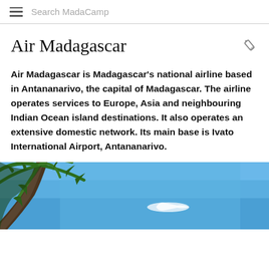Search MadaCamp
Air Madagascar
Air Madagascar is Madagascar's national airline based in Antananarivo, the capital of Madagascar. The airline operates services to Europe, Asia and neighbouring Indian Ocean island destinations. It also operates an extensive domestic network. Its main base is Ivato International Airport, Antananarivo.
[Figure (photo): Tropical scene with palm tree fronds in foreground against a bright blue sky, with what appears to be an aircraft in the background.]